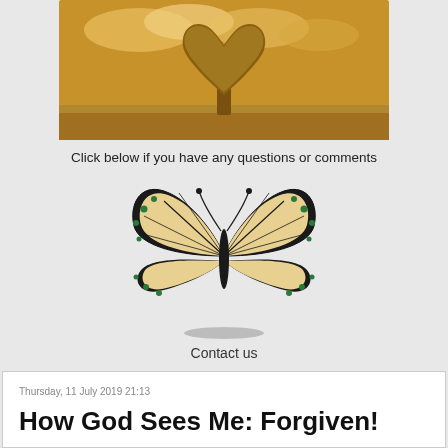[Figure (photo): Sepia-toned photo of a tree shaped like a heart in a field under a cloudy sky]
Click below if you have any questions or comments
[Figure (illustration): Colorful monarch butterfly illustration]
Contact us
Thursday, 11 July 2019 21:13
How God Sees Me: Forgiven!